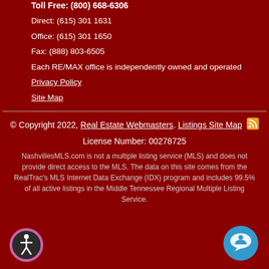Toll Free: (800) 668-6306
Direct: (615) 301 1631
Office: (615) 301 1650
Fax: (888) 803-6505
Each RE/MAX office is independently owned and operated
Privacy Policy
Site Map
© Copyright 2022, Real Estate Webmasters. Listings Site Map
License Number: 00278725
NashvillesMLS.com is not a multiple listing service (MLS) and does not provide direct access to the MLS. The data on this site comes from the RealTrac's MLS Internet Data Exchange (IDX) program and includes 99.5% of all active listings in the Middle Tennessee Regional Multiple Listing Service.
[Figure (illustration): Accessibility icon - circular button with person/wheelchair symbol]
[Figure (illustration): Chat/support icon - blue circular button with speech bubble and person symbol]